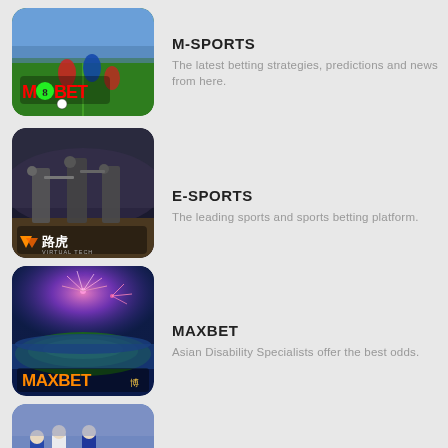[Figure (photo): M8BET sports betting thumbnail showing football players with M8BET logo]
M-SPORTS
The latest betting strategies, predictions and news from here.
[Figure (photo): E-Sports gaming thumbnail showing armed soldiers with Virtual Tech logo]
E-SPORTS
The leading sports and sports betting platform.
[Figure (photo): MAXBET thumbnail showing stadium with fireworks and MAXBET logo]
MAXBET
Asian Disability Specialists offer the best odds.
[Figure (photo): Football match thumbnail showing players on pitch]